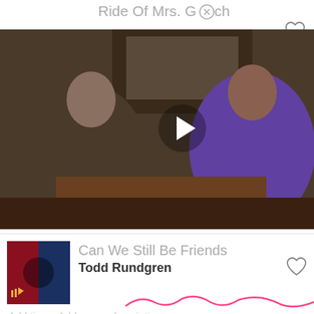Ride Of Mrs. Goch
[Figure (photo): Video thumbnail showing two men in a living room conversation, one in brown shirt and glasses, one in purple shirt, with a fireplace in background. White play button overlay in center.]
the scooter away after putting
Stream with [Amazon]
Can We Still Be Friends
Todd Rundgren
Add time  Add scene description
Stream with [Spotify] [Apple Music] [Amazon] [YouTube]
Rollin' Down The Hill
The Rembrandts
Add time  Add scene description
Stream with [Spotify] [Apple Music] [Amazon]
Should Have Known
Michael Alan Lerner and Sander Selover